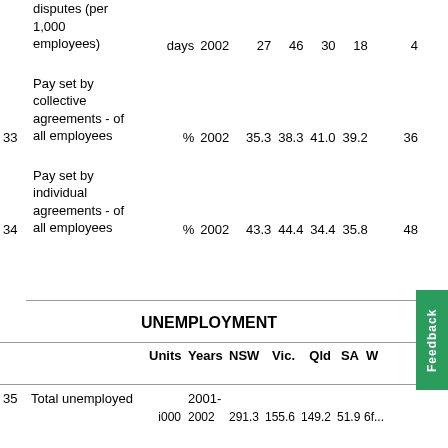| No. | Description | Units | Years | NSW | Vic. | Qld | SA | W... |
| --- | --- | --- | --- | --- | --- | --- | --- | --- |
|  | disputes (per 1,000 employees) | days | 2002 | 27 | 46 | 30 | 18 | 4... |
| 33 | Pay set by collective agreements - of all employees | % | 2002 | 35.3 | 38.3 | 41.0 | 39.2 | 36... |
| 34 | Pay set by individual agreements - of all employees | % | 2002 | 43.3 | 44.4 | 34.4 | 35.8 | 48... |
UNEMPLOYMENT
|  |  | Units | Years | NSW | Vic. | Qld | SA | W... |
| --- | --- | --- | --- | --- | --- | --- | --- | --- |
| 35 | Total unemployed |  | 2001- |  |  |  |  |  |
|  |  |  | i000 | 2002 291.3155.6149.2 51.9 6f... |  |  |  |  |